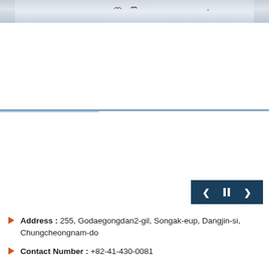[Figure (photo): A wide panoramic photo strip showing a winter or overcast landscape with two small birds or figures visible in the sky/scene, rendered as a thin horizontal banner at the top of the page.]
[Figure (other): Navigation control buttons showing left arrow, pause (two vertical bars), and right arrow on a dark teal/navy background, positioned at bottom right.]
Address : 255, Godaegongdan2-gil, Songak-eup, Dangjin-si, Chungcheongnam-do
Contact Number : +82-41-430-0081